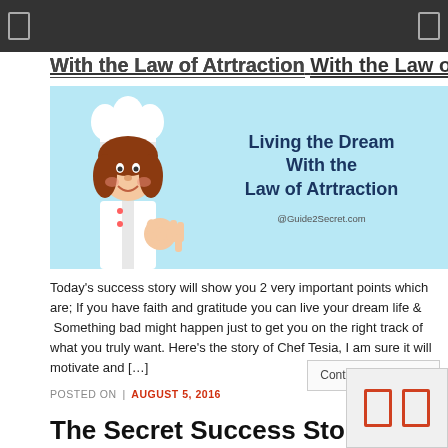With the Law of Atrtraction
[Figure (illustration): Blog banner image showing a cartoon chef woman with white hat on a light blue background with bold text 'Living the Dream With the Law of Atrtraction' and '@Guide2Secret.com']
Today's success story will show you 2 very important points which are; If you have faith and gratitude you can live your dream life &  Something bad might happen just to get you on the right track of what you truly want. Here's the story of Chef Tesia, I am sure it will motivate and […]
Continue reading →
POSTED ON  AUGUST 5, 2016   0
The Secret Success Stories: Th